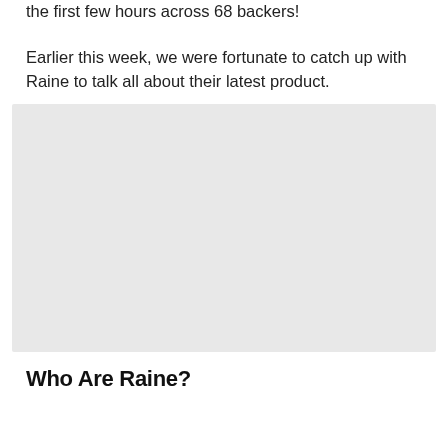the first few hours across 68 backers!
Earlier this week, we were fortunate to catch up with Raine to talk all about their latest product.
[Figure (photo): A large light grey rectangular placeholder image area.]
Who Are Raine?